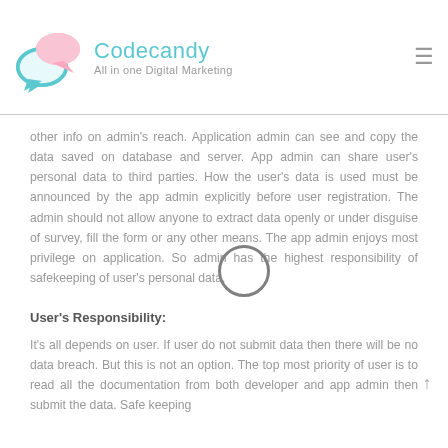Codecandy — All in one Digital Marketing
other info on admin's reach. Application admin can see and copy the data saved on database and server. App admin can share user's personal data to third parties. How the user's data is used must be announced by the app admin explicitly before user registration. The admin should not allow anyone to extract data openly or under disguise of survey, fill the form or any other means. The app admin enjoys most privilege on application. So admin has the highest responsibility of safekeeping of user's personal data.
User's Responsibility:
It's all depends on user. If user do not submit data then there will be no data breach. But this is not an option. The top most priority of user is to read all the documentation from both developer and app admin then submit the data. Safe keeping